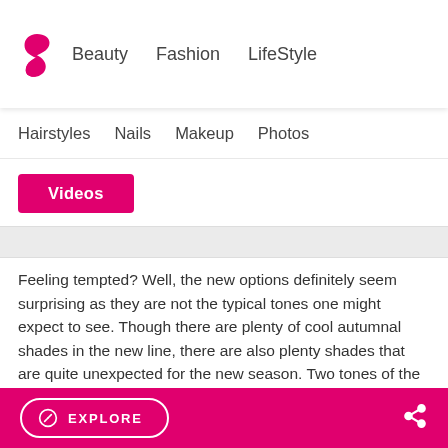Beauty  Fashion  LifeStyle
Hairstyles  Nails  Makeup  Photos
Videos
Feeling tempted? Well, the new options definitely seem surprising as they are not the typical tones one might expect to see. Though there are plenty of cool autumnal shades in the new line, there are also plenty shades that are quite unexpected for the new season. Two tones of the new line, Pink Waterfall and Teal Unreal have a creamy texture, three of the nail polishes included in the new line Pixie Powder, Angel Rain and Purple Poodle have a shimmery finish. Last but certainly
EXPLORE